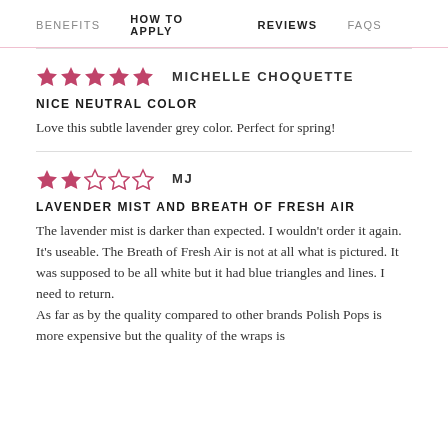BENEFITS  HOW TO APPLY  REVIEWS  FAQS
★★★★★  MICHELLE CHOQUETTE
NICE NEUTRAL COLOR
Love this subtle lavender grey color. Perfect for spring!
★★☆☆☆  MJ
LAVENDER MIST AND BREATH OF FRESH AIR
The lavender mist is darker than expected. I wouldn't order it again. It's useable. The Breath of Fresh Air is not at all what is pictured. It was supposed to be all white but it had blue triangles and lines. I need to return.
As far as by the quality compared to other brands Polish Pops is more expensive but the quality of the wraps is